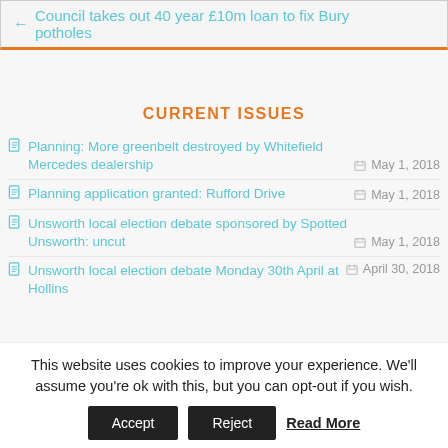← Council takes out 40 year £10m loan to fix Bury potholes
CURRENT ISSUES
Planning: More greenbelt destroyed by Whitefield Mercedes dealership — May 1, 2018
Planning application granted: Rufford Drive — May 1, 2018
Unsworth local election debate sponsored by Spotted Unsworth: uncut — May 1, 2018
Unsworth local election debate Monday 30th April at Hollins...
This website uses cookies to improve your experience. We'll assume you're ok with this, but you can opt-out if you wish.
Accept  Reject  Read More